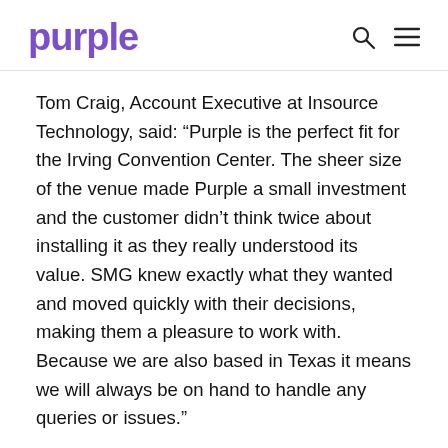purple
Tom Craig, Account Executive at Insource Technology, said: “Purple is the perfect fit for the Irving Convention Center. The sheer size of the venue made Purple a small investment and the customer didn’t think twice about installing it as they really understood its value. SMG knew exactly what they wanted and moved quickly with their decisions, making them a pleasure to work with. Because we are also based in Texas it means we will always be on hand to handle any queries or issues.”
The Irving Convention Center is just the first phase of a mixed-use entertainment district, that will eventually include a 350-room Westin Convention Center Hotel and the 2,000-seat Music Factory entertainment center.